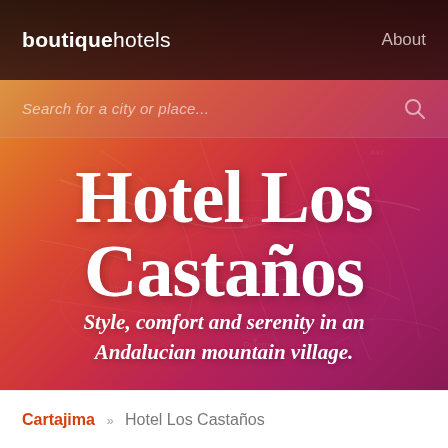boutiquehotels   About
Search for a city or place...
[Figure (illustration): Hero section with warm gradient background (yellow to red-pink) and faint map overlay showing area around Cartajima, Alpandeire, and Pujerra in Andalucia, Spain.]
Hotel Los Castaños
Style, comfort and serenity in an Andalucian mountain village.
Cartajima » Hotel Los Castaños